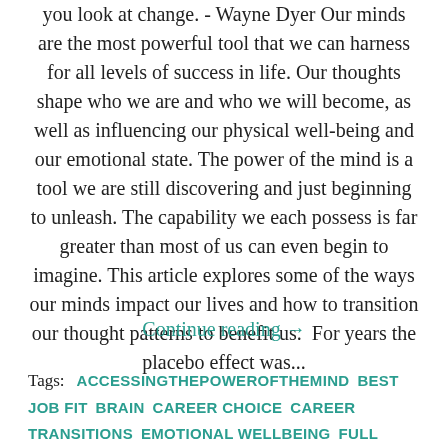you look at change. - Wayne Dyer Our minds are the most powerful tool that we can harness for all levels of success in life. Our thoughts shape who we are and who we will become, as well as influencing our physical well-being and our emotional state. The power of the mind is a tool we are still discovering and just beginning to unleash. The capability we each possess is far greater than most of us can even begin to imagine. This article explores some of the ways our minds impact our lives and how to transition our thought patterns to benefit us.  For years the placebo effect was...
Continue reading →
Tags:  ACCESSINGTHEPOWEROFTHEMIND  BEST JOB FIT  BRAIN  CAREER CHOICE  CAREER TRANSITIONS  EMOTIONAL WELLBEING  FULL...